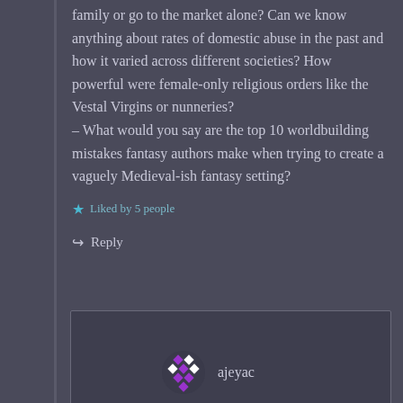family or go to the market alone? Can we know anything about rates of domestic abuse in the past and how it varied across different societies? How powerful were female-only religious orders like the Vestal Virgins or nunneries?
– What would you say are the top 10 worldbuilding mistakes fantasy authors make when trying to create a vaguely Medieval-ish fantasy setting?
★ Liked by 5 people
↪ Reply
[Figure (other): Comment box with avatar and username 'ajeyac']